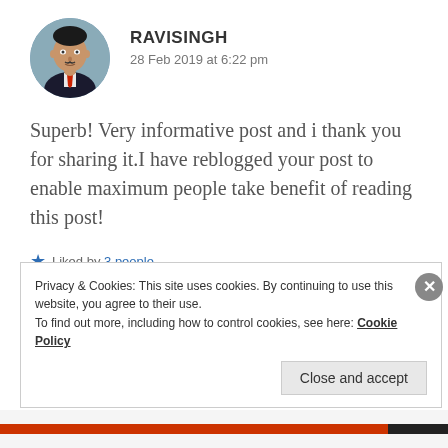[Figure (photo): Circular avatar photo of a man in a dark suit with a red tie, against a light blue-grey background]
RAVISINGH
28 Feb 2019 at 6:22 pm
Superb! Very informative post and i thank you for sharing it.I have reblogged your post to enable maximum people take benefit of reading this post!
Liked by 3 people
REPLY
Privacy & Cookies: This site uses cookies. By continuing to use this website, you agree to their use.
To find out more, including how to control cookies, see here: Cookie Policy
Close and accept